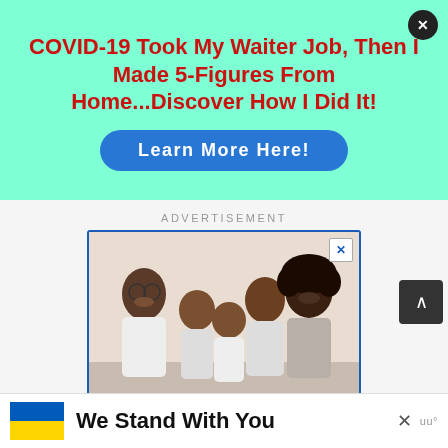COVID-19 Took My Waiter Job, Then I Made 5-Figures From Home...Discover How I Did It!
Learn More Here!
ADVERTISEMENT
[Figure (photo): Advertisement showing a family of five smiling together — a man on the left wearing glasses and a white shirt, three children in the middle, and a woman with curly hair on the right wearing a grey top.]
Give support to people recovering from crisis. Make a contribution...
We Stand With You